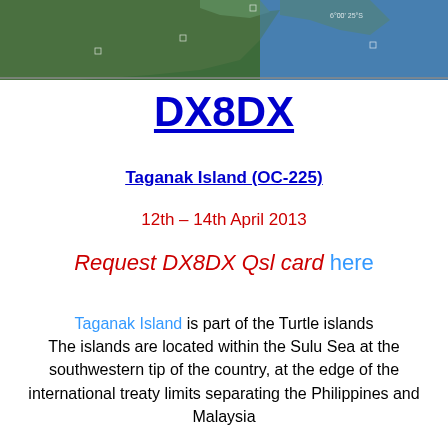[Figure (map): Satellite map image showing coastline of Taganak Island area in the Sulu Sea, Philippines/Malaysia border region]
DX8DX
Taganak Island (OC-225)
12th – 14th April 2013
Request DX8DX Qsl card here
Taganak Island is part of the Turtle islands The islands are located within the Sulu Sea at the southwestern tip of the country, at the edge of the international treaty limits separating the Philippines and Malaysia